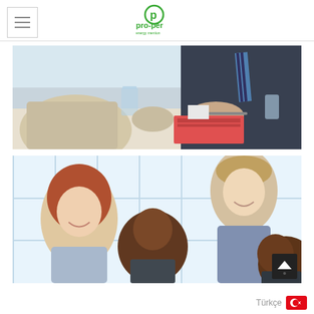pro-per logo and navigation
[Figure (photo): Business meeting photo showing people in suits at a table with documents and glasses of water, close-up view]
[Figure (photo): Group of diverse young professionals smiling and collaborating in a bright office setting with large windows]
Türkçe